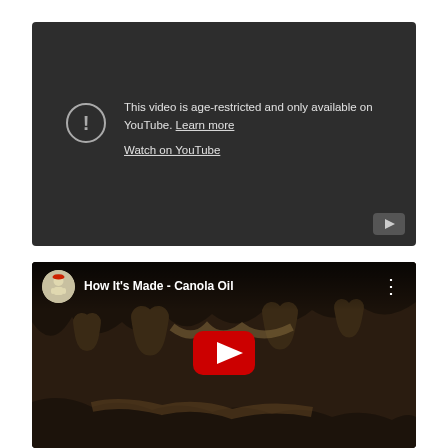[Figure (screenshot): YouTube age-restricted video placeholder. Dark grey background with exclamation circle icon and text: 'This video is age-restricted and only available on YouTube. Learn more' and 'Watch on YouTube' link. Small play button in bottom right corner.]
[Figure (screenshot): YouTube embedded video player showing 'How It's Made - Canola Oil'. Cave/stalactite background image. Channel icon, video title in top bar, three-dot menu icon, red YouTube play button in center.]